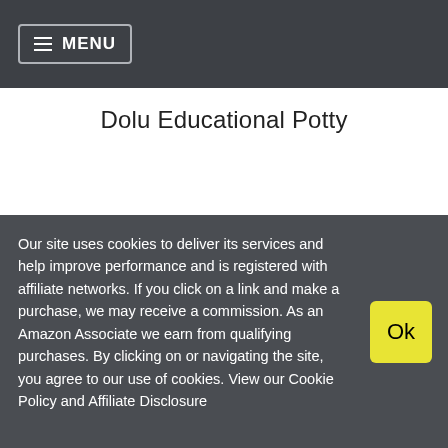MENU
Dolu Educational Potty
THE TOY SHOP
was: £29.99
Our site uses cookies to deliver its services and help improve performance and is registered with affiliate networks. If you click on a link and make a purchase, we may receive a commission. As an Amazon Associate we earn from qualifying purchases. By clicking on or navigating the site, you agree to our use of cookies. View our Cookie Policy and Affiliate Disclosure